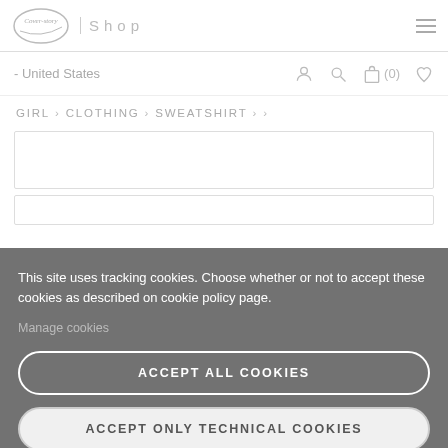Cover-story | Shop
- United States
GIRL > CLOTHING > SWEATSHIRT > >
This site uses tracking cookies. Choose whether or not to accept these cookies as described on cookie policy page.
Manage cookies
ACCEPT ALL COOKIES
ACCEPT ONLY TECHNICAL COOKIES